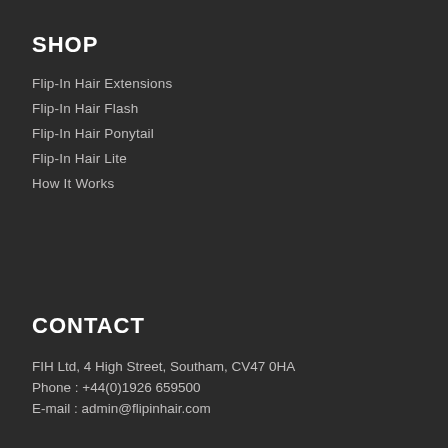SHOP
Flip-In Hair Extensions
Flip-In Hair Flash
Flip-In Hair Ponytail
Flip-In Hair Lite
How It Works
CONTACT
FIH Ltd, 4 High Street, Southam, CV47 0HA
Phone : +44(0)1926 659500
E-mail : admin@flipinhair.com